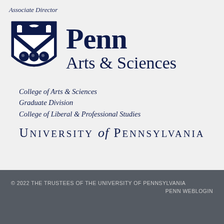Associate Director
[Figure (logo): Penn Arts & Sciences logo with University of Pennsylvania shield (dark navy blue shield with books at top and three circles/spheres in lower portion, paired with Penn Arts & Sciences text)]
College of Arts & Sciences
Graduate Division
College of Liberal & Professional Studies
University of Pennsylvania
© 2022 THE TRUSTEES OF THE UNIVERSITY OF PENNSYLVANIA
PENN WEBLOGIN